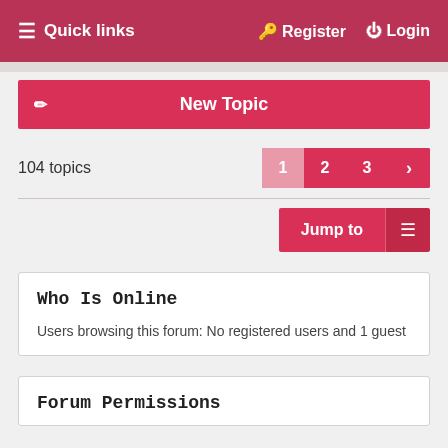☰ Quick links   Register   Login
New Topic
104 topics
1 2 3 >
Jump to
Who Is Online
Users browsing this forum: No registered users and 1 guest
Forum Permissions